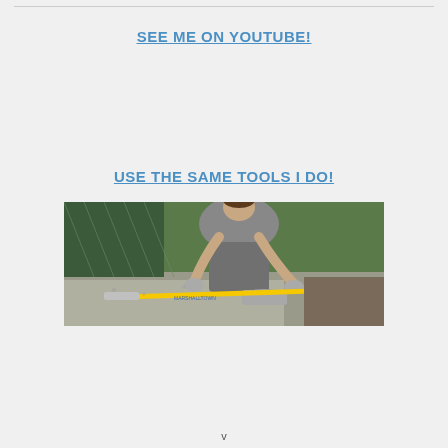SEE ME ON YOUTUBE!
USE THE SAME TOOLS I DO!
[Figure (photo): A man kneeling outdoors working on fresh concrete with a yellow-handled concrete finishing tool (bull float or screed), wearing gloves and work clothes. A chain-link fence is visible in the background.]
v